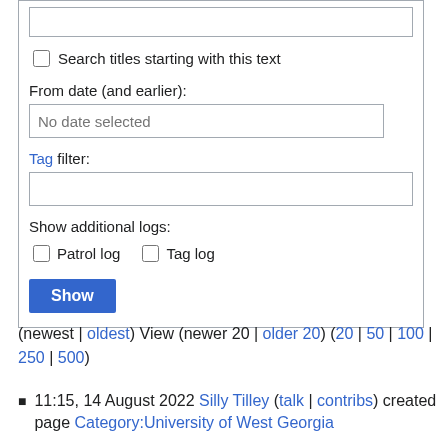Search titles starting with this text
From date (and earlier):
No date selected
Tag filter:
Show additional logs:
Patrol log   Tag log
Show
(newest | oldest) View (newer 20 | older 20) (20 | 50 | 100 | 250 | 500)
11:15, 14 August 2022 Silly Tilley (talk | contribs) created page Category:University of West Georgia